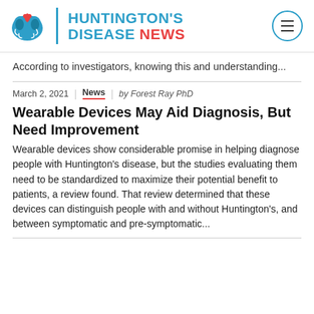HUNTINGTON'S DISEASE NEWS
According to investigators, knowing this and understanding...
March 2, 2021 | News | by Forest Ray PhD
Wearable Devices May Aid Diagnosis, But Need Improvement
Wearable devices show considerable promise in helping diagnose people with Huntington's disease, but the studies evaluating them need to be standardized to maximize their potential benefit to patients, a review found. That review determined that these devices can distinguish people with and without Huntington's, and between symptomatic and pre-symptomatic...